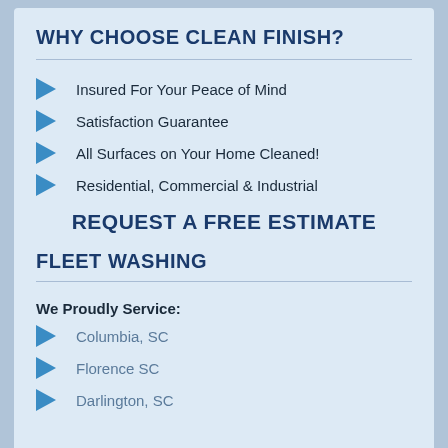WHY CHOOSE CLEAN FINISH?
Insured For Your Peace of Mind
Satisfaction Guarantee
All Surfaces on Your Home Cleaned!
Residential, Commercial & Industrial
REQUEST A FREE ESTIMATE
FLEET WASHING
We Proudly Service:
Columbia, SC
Florence SC
Darlington, SC